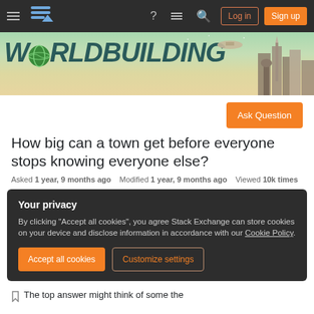Worldbuilding Stack Exchange — navigation bar with Log in and Sign up buttons
[Figure (illustration): Worldbuilding Stack Exchange banner with stylized text 'WORLDBUILDING' and fantasy city skyline illustration]
Ask Question
How big can a town get before everyone stops knowing everyone else?
Asked 1 year, 9 months ago   Modified 1 year, 9 months ago   Viewed 10k times
Your privacy
By clicking "Accept all cookies", you agree Stack Exchange can store cookies on your device and disclose information in accordance with our Cookie Policy.
Accept all cookies   Customize settings
The top answer might think of some the